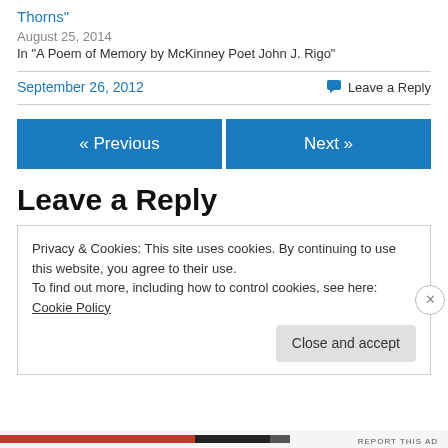Thorns"
August 25, 2014
In "A Poem of Memory by McKinney Poet John J. Rigo"
September 26, 2012
Leave a Reply
« Previous
Next »
Leave a Reply
Privacy & Cookies: This site uses cookies. By continuing to use this website, you agree to their use.
To find out more, including how to control cookies, see here: Cookie Policy
Close and accept